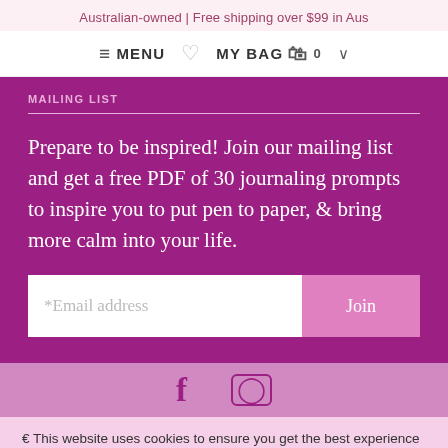Australian-owned | Free shipping over $99 in Aus
≡ MENU  ♡  MY BAG  🛍 0  ∨
MAILING LIST
Prepare to be inspired! Join our mailing list and get a free PDF of 30 journaling prompts to inspire you to put pen to paper, & bring more calm into your life.
*Email address  Join
🍪 This website uses cookies to ensure you get the best experience on our website.  Learn more
Got it!
COPYRIGHT © 2022 INTRINSIC